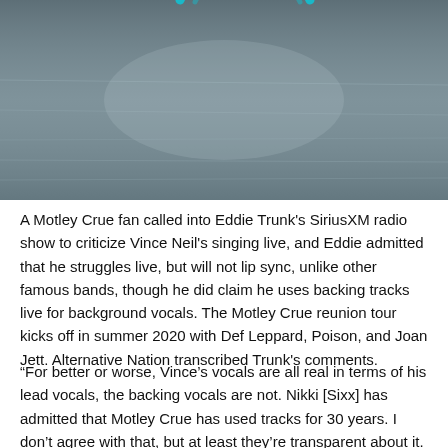[Figure (photo): A photo of water surface with light reflections, with a partial teal/cyan circular graphic or logo visible at the top center of the image.]
A Motley Crue fan called into Eddie Trunk's SiriusXM radio show to criticize Vince Neil's singing live, and Eddie admitted that he struggles live, but will not lip sync, unlike other famous bands, though he did claim he uses backing tracks live for background vocals. The Motley Crue reunion tour kicks off in summer 2020 with Def Leppard, Poison, and Joan Jett. Alternative Nation transcribed Trunk's comments.
“For better or worse, Vince’s vocals are all real in terms of his lead vocals, the backing vocals are not. Nikki [Sixx] has admitted that Motley Crue has used tracks for 30 years. I don’t agree with that, but at least they’re transparent about it. Vince has struggled man, I’m not going to lie to you. But to